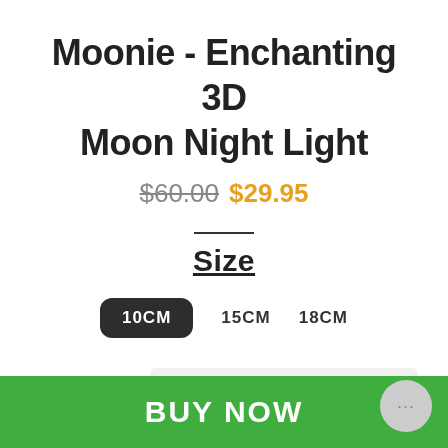Moonie - Enchanting 3D Moon Night Light
$60.00 $29.95
Size
10CM
15CM
18CM
Quantity 1
BUY NOW